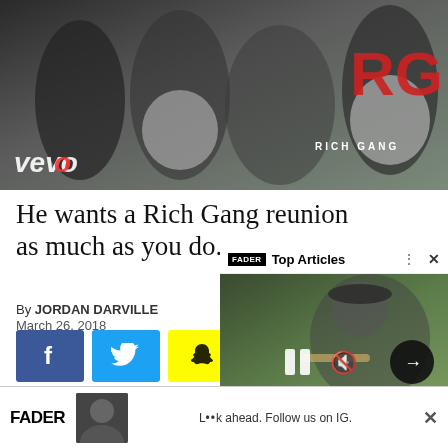[Figure (photo): Group photo with people in crowd, person wearing Rich Gang t-shirt, Vevo watermark in bottom left]
He wants a Rich Gang reunion as much as you do.
By JORDAN DARVILLE
March 26, 2018
[Figure (other): Social sharing buttons: Facebook (blue), Twitter (blue), Snapchat (yellow)]
Gucci Mane has of... Young Thug $1 mi... together. Quan an...
[Figure (photo): Top Articles popup widget from FADER showing a woman playing trumpet, with media controls. Caption: Avant-garde trumpeter Jaimie branch dies at 39]
Avant-garde trumpeter Jaimie branch dies at 39
[Figure (screenshot): Bottom advertisement banner with FADER logo and text: L••k ahead. Follow us on IG.]